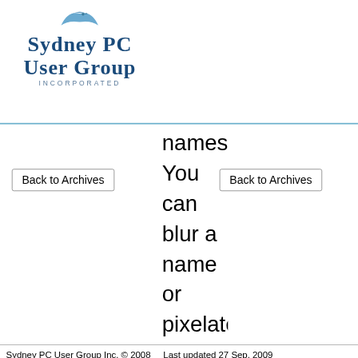[Figure (logo): Sydney PC User Group Incorporated logo with bird/eagle icon above stylized text]
names. You can blur a name or pixelate an area containing sensitive information. To finish the editing we looked at zoom
Back to Archives
Back to Archives
Sydney PC User Group Inc. © 2008    Last updated 27 Sep. 2009